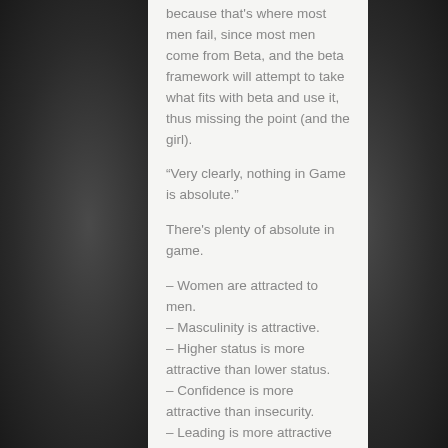because that's where most men fail, since most men come from Beta, and the beta framework will attempt to take what fits with beta and use it, thus missing the point (and the girl).
“Very clearly, nothing in Game is absolute.”
There's plenty of absolute in game.
– Women are attracted to men.
– Masculinity is attractive.
– Higher status is more attractive than lower status.
– Confidence is more attractive than insecurity.
– Leading is more attractive